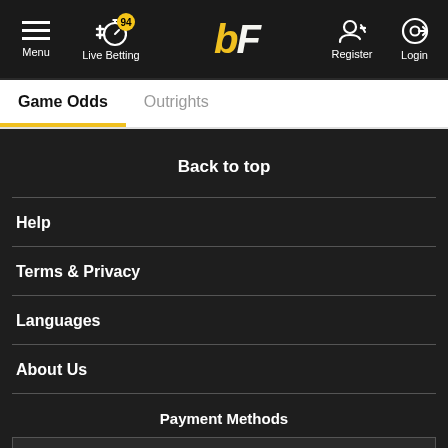Menu | Live Betting 94 | bF | Register | Login
Game Odds
Outrights
Back to top
Help
Terms & Privacy
Languages
About Us
Payment Methods